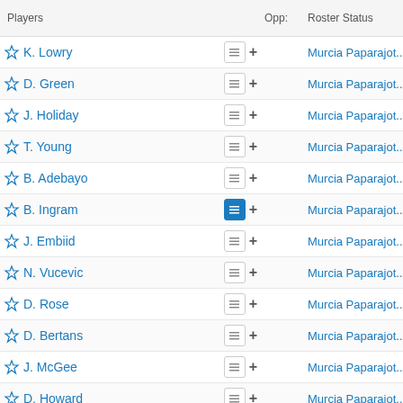| Players |  |  | Opp: | Roster Status | GP* | Pre-Se |
| --- | --- | --- | --- | --- | --- | --- |
| K. Lowry | ☰ | + |  | Murcia Paparajot... | 58 |  |
| D. Green | ☰ | + |  | Murcia Paparajot... | 68 |  |
| J. Holiday | ☰ | + |  | Murcia Paparajot... | 73 |  |
| T. Young | ☰ | + |  | Murcia Paparajot... | 60 |  |
| B. Adebayo | ☰ | + |  | Murcia Paparajot... | 72 |  |
| B. Ingram | ☰ | + |  | Murcia Paparajot... | 62 |  |
| J. Embiid | ☰ | + |  | Murcia Paparajot... | 51 |  |
| N. Vucevic | ☰ | + |  | Murcia Paparajot... | 62 |  |
| D. Rose | ☰ | + |  | Murcia Paparajot... | 50 |  |
| D. Bertans | ☰ | + |  | Murcia Paparajot... | 54 |  |
| J. McGee | ☰ | + |  | Murcia Paparajot... | 68 |  |
| D. Howard | ☰ | + |  | Murcia Paparajot... | 69 |  |
| M. Kleber | ☰ | + |  | Murcia Paparajot... | 74 |  |